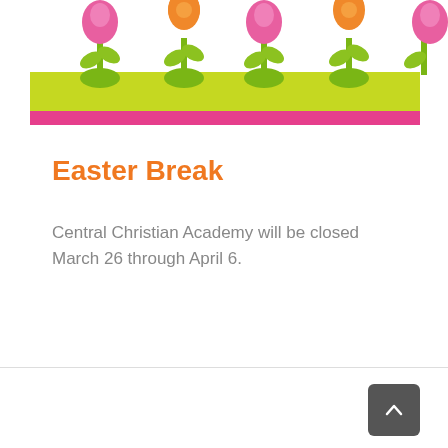[Figure (illustration): Decorative Easter/spring banner with cartoon flowers (pink tulips and orange daisy-like flowers) on green stems with leaves, over a lime-green ground strip with a hot-pink horizontal stripe at the bottom.]
Easter Break
Central Christian Academy will be closed March 26 through April 6.